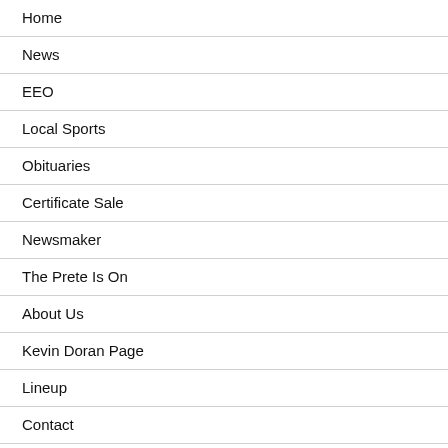Home
News
EEO
Local Sports
Obituaries
Certificate Sale
Newsmaker
The Prete Is On
About Us
Kevin Doran Page
Lineup
Contact
FCC Public File Page